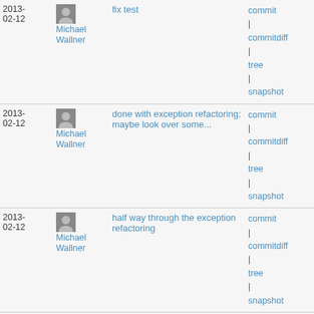| Date | Author | Message | Links |
| --- | --- | --- | --- |
| 2013-02-12 | Michael Wallner | fix test | commit | commitdiff | tree | snapshot |
| 2013-02-12 | Michael Wallner | done with exception refactoring; maybe look over some... | commit | commitdiff | tree | snapshot |
| 2013-02-12 | Michael Wallner | half way through the exception refactoring | commit | commitdiff | tree | snapshot |
| 2013-02-08 | Michael Wallner | cancel any active async query on persistent connection... | commit | commitdiff | tree | snapshot |
| 2013-02-08 | Michael Wallner | add namespace support to pq\Types | commit | commitdiff | tree | snapshot |
| 2013- | Michael Wallner | adapt persistent handle API | commit | |